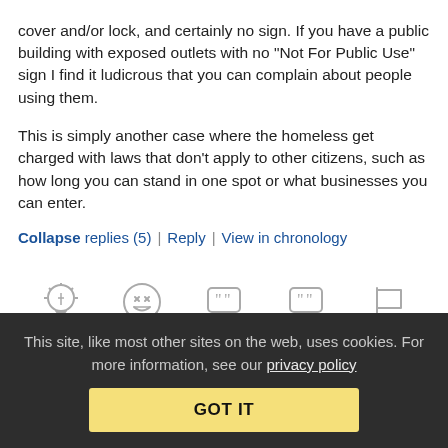cover and/or lock, and certainly no sign. If you have a public building with exposed outlets with no “Not For Public Use” sign I find it ludicrous that you can complain about people using them.
This is simply another case where the homeless get charged with laws that don’t apply to other citizens, such as how long you can stand in one spot or what businesses you can enter.
Collapse replies (5) | Reply | View in chronology
[Figure (infographic): Row of five action icons: lightbulb, laughing face, quote bubble (left), quote bubble (right), flag]
[2]
This site, like most other sites on the web, uses cookies. For more information, see our privacy policy GOT IT